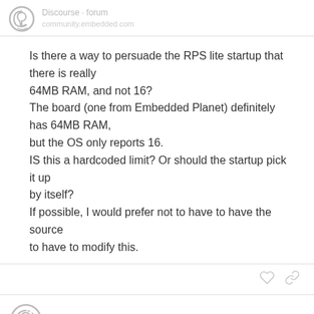Discourse forum header with logo
Is there a way to persuade the RPS lite startup that there is really
64MB RAM, and not 16?
The board (one from Embedded Planet) definitely has 64MB RAM,
but the OS only reports 16.
IS this a hardcoded limit? Or should the startup pick it up by itself?
If possible, I would prefer not to have to have the source to have to modify this.
system
Mar '03
On Thu, 6 Mar 2003 16:11:16 -0500, "Adam Mallory"